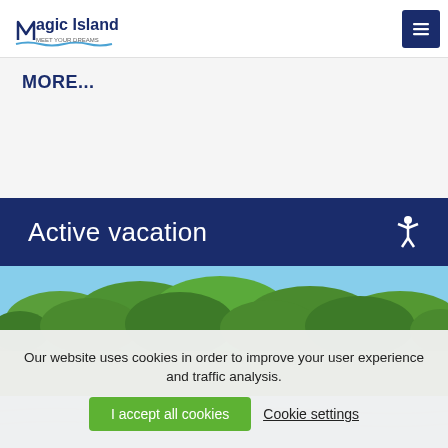Magic Island - Meet Your Dreams (logo) | hamburger menu button
MORE...
Active vacation
[Figure (photo): Forest landscape with green trees and blue sky, water reflection at bottom]
Our website uses cookies in order to improve your user experience and traffic analysis. I accept all cookies  Cookie settings